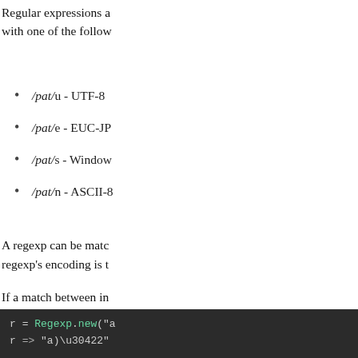Regular expressions are matched against a string with one of the follow
/pat/u - UTF-8
/pat/e - EUC-JP
/pat/s - Windows
/pat/n - ASCII-8
A regexp can be matched against a string. A regexp's encoding is t
If a match between incompatible encodings is attempted, Encoding::Compatib
The Regexp#fixed_e encoding, that is one fixed by supplying Re
[Figure (screenshot): Code block showing Ruby regexp code: r = Regexp.new("a  r => "a)u3042"]